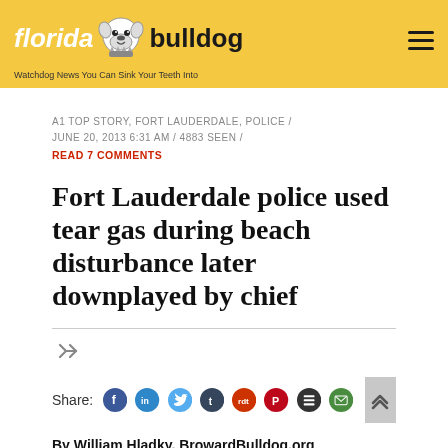florida bulldog — Watchdog News You Can Sink Your Teeth Into
A1 TOP STORY, FORT LAUDERDALE, POLICE / JUNE 20, 2013 6:31 AM / 4883 SEEN / READ 7 COMMENTS
Fort Lauderdale police used tear gas during beach disturbance later downplayed by chief
Share:
By William Hladky, BrowardBulldog.org